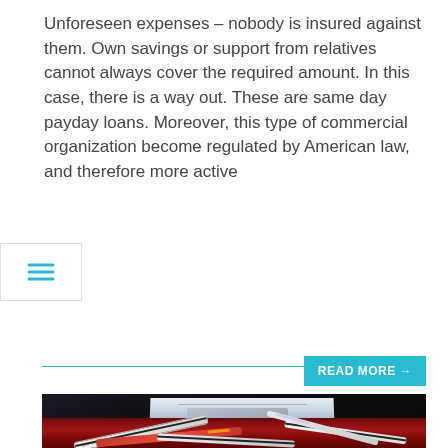Unforeseen expenses – nobody is insured against them. Own savings or support from relatives cannot always cover the required amount. In this case, there is a way out. These are same day payday loans. Moreover, this type of commercial organization become regulated by American law, and therefore more active
[Figure (other): Hamburger menu icon (three horizontal lines) in a white box with border]
READ MORE →
[Figure (photo): Photo of a laptop computer on a red shaggy carpet surrounded by scattered credit/debit cards. The laptop screen shows a blurred webpage. The scene is dark with the red carpet prominent in the foreground.]